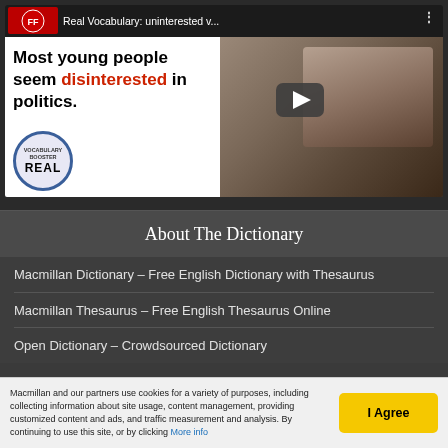[Figure (screenshot): Video thumbnail showing a man with text 'Most young people seem disinterested in politics.' and a REAL vocabulary badge. Title bar reads 'Real Vocabulary: uninterested v...']
About The Dictionary
Macmillan Dictionary – Free English Dictionary with Thesaurus
Macmillan Thesaurus – Free English Thesaurus Online
Open Dictionary – Crowdsourced Dictionary
Macmillan and our partners use cookies for a variety of purposes, including collecting information about site usage, content management, providing customized content and ads, and traffic measurement and analysis. By continuing to use this site, or by clicking More info